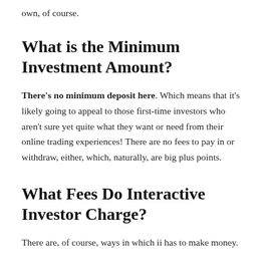own, of course.
What is the Minimum Investment Amount?
There’s no minimum deposit here. Which means that it’s likely going to appeal to those first-time investors who aren’t sure yet quite what they want or need from their online trading experiences! There are no fees to pay in or withdraw, either, which, naturally, are big plus points.
What Fees Do Interactive Investor Charge?
There are, of course, ways in which ii has to make money.